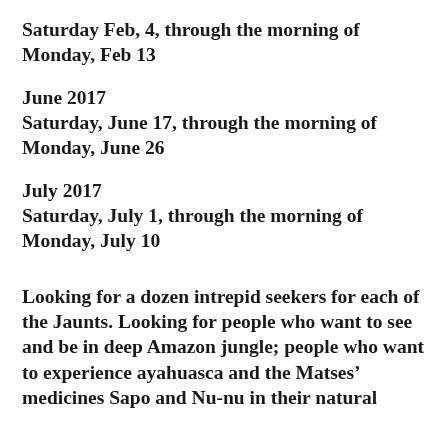Saturday Feb, 4, through the morning of Monday, Feb 13
June 2017
Saturday, June 17, through the morning of Monday, June 26
July 2017
Saturday, July 1, through the morning of Monday, July 10
Looking for a dozen intrepid seekers for each of the Jaunts. Looking for people who want to see and be in deep Amazon jungle; people who want to experience ayahuasca and the Matses’ medicines Sapo and Nu-nu in their natural